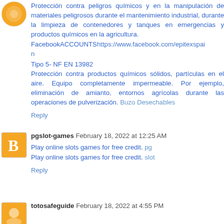Protección contra peligros químicos y en la manipulación de materiales peligrosos durante el mantenimiento industrial, durante la limpieza de contenedores y tanques en emergencias y productos químicos en la agricultura. FacebookACCOUNTShttps://www.facebook.com/epitexspain
Tipo 5- NF EN 13982
Protección contra productos químicos sólidos, partículas en el aire. Equipo completamente impermeable. Por ejemplo, eliminación de amianto, entornos agrícolas durante las operaciones de pulverización. Buzo Desechables
Reply
pgslot-games February 18, 2022 at 12:25 AM
Play online slots games for free credit. pg
Play online slots games for free credit. slot
Reply
totosafeguide February 18, 2022 at 4:55 PM